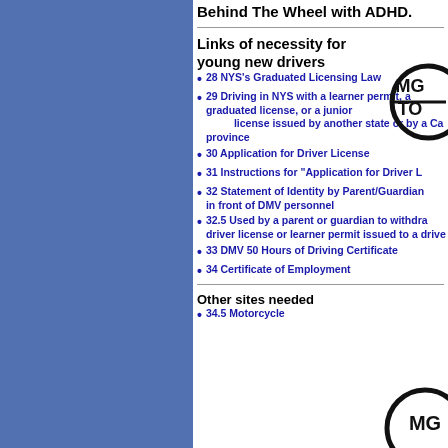Behind The Wheel with ADHD.
Links of necessity for young new drivers
28 NYS's Graduated Licensing Law
29 Driving in NYS with a learner permit, a graduated license, or a junior license issued by another state or by a Ca province
30 Application for Driver License
31 Instructions for "Application for Driver L
32 Statement of Identity by Parent/Guardian in front of DMV personnel
32.5 Used by a parent or guardian to withdra driver license or learner permit issued to a drive
33 DMV 50 Hours of Driving Certificate
34 Certificate of Employment
Other sites needed
34.5 Motorcycle